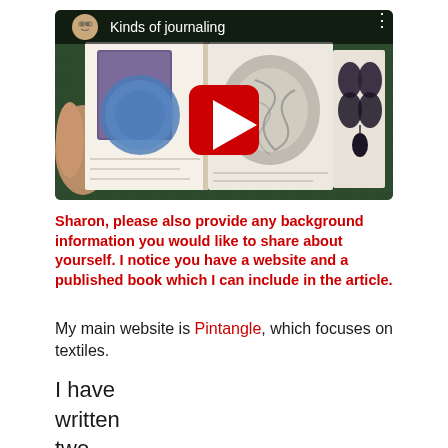[Figure (screenshot): YouTube video thumbnail showing 'Kinds of journaling' with an open journal/sketchbook featuring textile and art pages, a YouTube play button overlay, and a channel avatar in the header.]
Sharon, please also provide any background information you would like to share about yourself. I notice you have a website and a published book which I can include in the article.
My main website is Pintangle, which focuses on textiles.
I have written two books